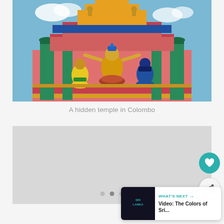[Figure (photo): Colorful Hindu temple gopuram in Colombo, Sri Lanka. Statues of Hindu deities in yellow, blue, and green garments on a multi-tiered pink and teal tower against a blue sky.]
A hidden temple in Colombo
[Figure (photo): Second image in a carousel, appears as a light gray placeholder rectangle. Carousel dot indicators visible below.]